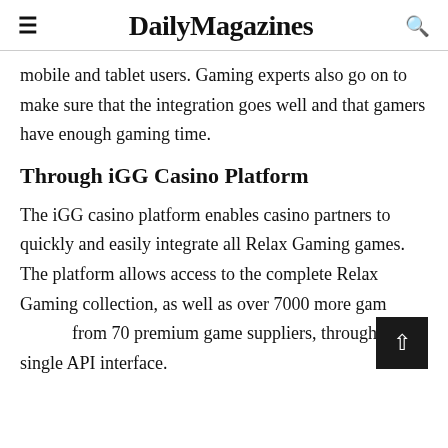DailyMagazines
mobile and tablet users. Gaming experts also go on to make sure that the integration goes well and that gamers have enough gaming time.
Through iGG Casino Platform
The iGG casino platform enables casino partners to quickly and easily integrate all Relax Gaming games. The platform allows access to the complete Relax Gaming collection, as well as over 7000 more games from 70 premium game suppliers, through a single API interface.